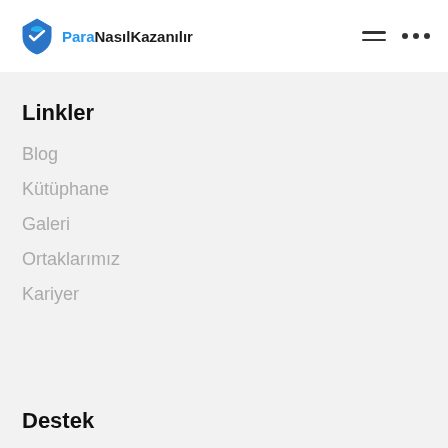Para Nasıl Kazanılır
Linkler
Blog
Kütüphane
Galeri
Ortaklarımız
Kariyer
Destek